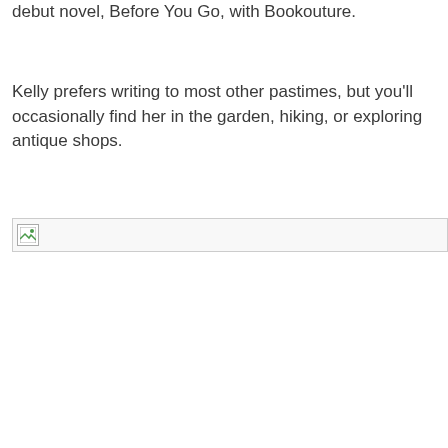debut novel, Before You Go, with Bookouture.
Kelly prefers writing to most other pastimes, but you'll occasionally find her in the garden, hiking, or exploring antique shops.
[Figure (other): Broken/missing image placeholder with small icon at top-left]